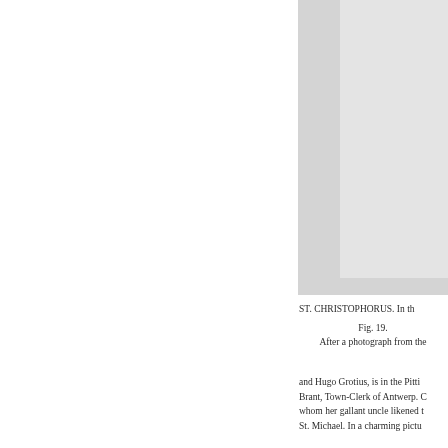[Figure (photo): A photograph or illustration, partially visible on the right side of the page, showing a grey rectangular image area with a lighter inset panel.]
ST. CHRISTOPHORUS. In th

Fig. 19.
After a photograph from the
and Hugo Grotius, is in the Pitti 
Brant, Town-Clerk of Antwerp. C
whom her gallant uncle likened t
St. Michael. In a charming pictu